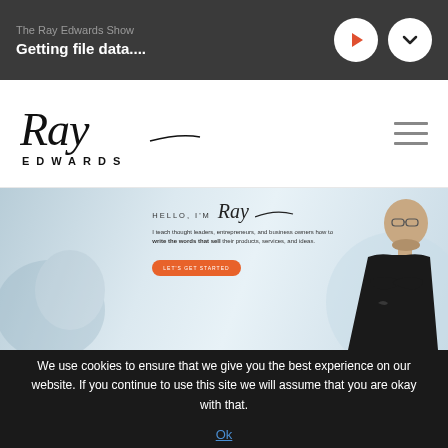The Ray Edwards Show
Getting file data....
[Figure (logo): Ray Edwards logo with stylized script 'Ray' and block letters 'EDWARDS']
[Figure (photo): Hero banner: 'HELLO, I'M Ray' with text 'I teach thought leaders, entrepreneurs, and business owners how to write the words that sell their products, services, and ideas.' with orange 'Let's Get Started' button, and a bald man with glasses and crossed arms in black shirt]
We use cookies to ensure that we give you the best experience on our website. If you continue to use this site we will assume that you are okay with that.
Ok